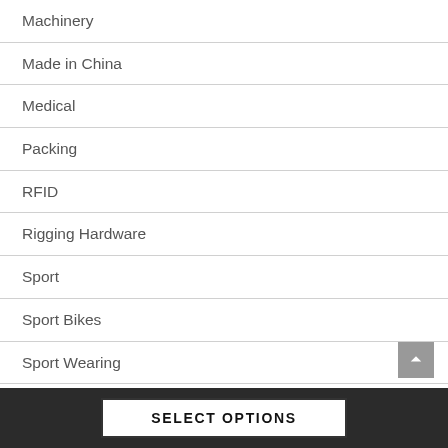Machinery
Made in China
Medical
Packing
RFID
Rigging Hardware
Sport
Sport Bikes
Sport Wearing
Superabrasives
Uncategorized
SELECT OPTIONS